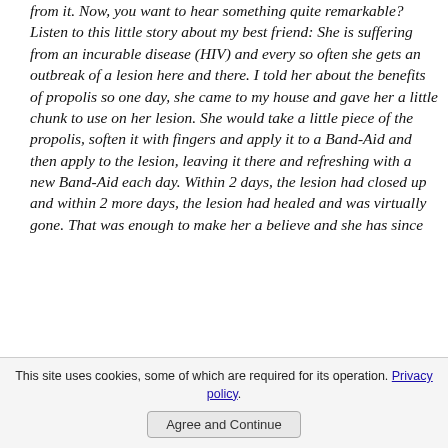from it. Now, you want to hear something quite remarkable? Listen to this little story about my best friend: She is suffering from an incurable disease (HIV) and every so often she gets an outbreak of a lesion here and there. I told her about the benefits of propolis so one day, she came to my house and gave her a little chunk to use on her lesion. She would take a little piece of the propolis, soften it with fingers and apply it to a Band-Aid and then apply to the lesion, leaving it there and refreshing with a new Band-Aid each day. Within 2 days, the lesion had closed up and within 2 more days, the lesion had healed and was virtually gone. That was enough to make her a believe and she has since
This site uses cookies, some of which are required for its operation. Privacy policy.